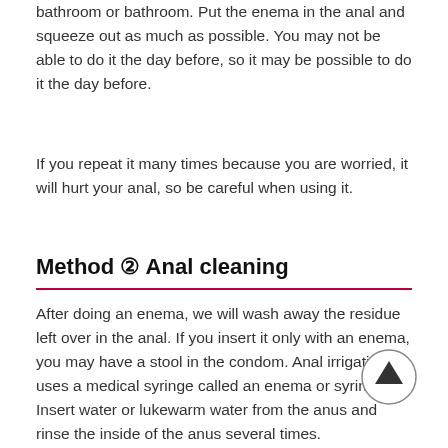bathroom or bathroom. Put the enema in the anal and squeeze out as much as possible. You may not be able to do it the day before, so it may be possible to do it the day before.
If you repeat it many times because you are worried, it will hurt your anal, so be careful when using it.
Method ② Anal cleaning
After doing an enema, we will wash away the residue left over in the anal. If you insert it only with an enema, you may have a stool in the condom. Anal irrigation uses a medical syringe called an enema or syringe. Insert water or lukewarm water from the anus and rinse the inside of the anus several times.